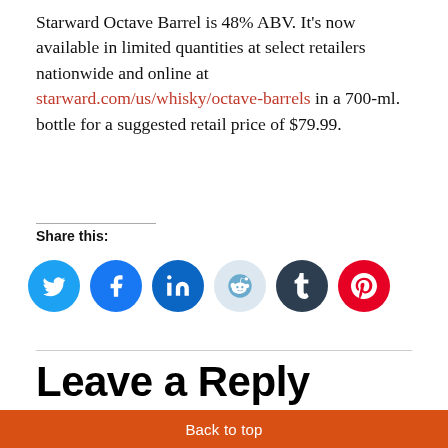Starward Octave Barrel is 48% ABV. It's now available in limited quantities at select retailers nationwide and online at starward.com/us/whisky/octave-barrels in a 700-ml. bottle for a suggested retail price of $79.99.
Share this:
[Figure (infographic): Social media sharing icons: Twitter (blue), Facebook (blue), LinkedIn (blue), Reddit (light blue), Tumblr (dark navy), Pinterest (red)]
Leave a Reply
Your email address will not be published. Required fields are
Back to top